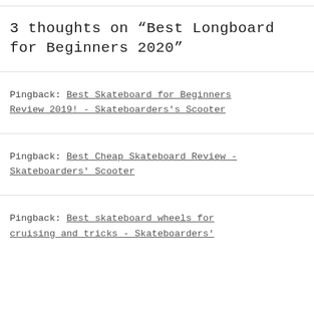3 thoughts on “Best Longboard for Beginners 2020”
Pingback: Best Skateboard for Beginners Review 2019! - Skateboarders's Scooter
Pingback: Best Cheap Skateboard Review - Skateboarders' Scooter
Pingback: Best skateboard wheels for cruising and tricks - Skateboarders'